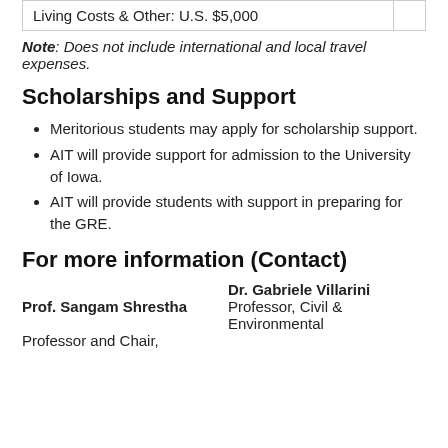| Living Costs & Other: U.S. $5,000 |  |
Note: Does not include international and local travel expenses.
Scholarships and Support
Meritorious students may apply for scholarship support.
AIT will provide support for admission to the University of Iowa.
AIT will provide students with support in preparing for the GRE.
For more information (Contact)
Dr. Gabriele Villarini
Prof. Sangam Shrestha
Professor, Civil & Environmental
Professor and Chair,